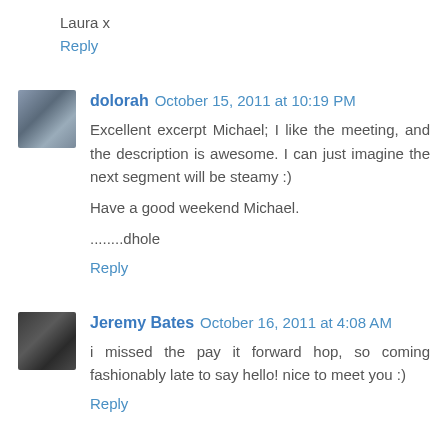Laura x
Reply
dolorah  October 15, 2011 at 10:19 PM
Excellent excerpt Michael; I like the meeting, and the description is awesome. I can just imagine the next segment will be steamy :)

Have a good weekend Michael.

........dhole
Reply
Jeremy Bates  October 16, 2011 at 4:08 AM
i missed the pay it forward hop, so coming fashionably late to say hello! nice to meet you :)
Reply